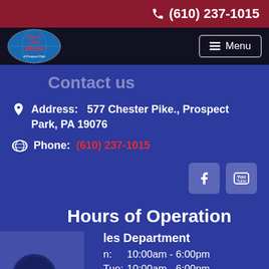(610) 237-1015
[Figure (logo): Car & Van World logo — circular globe with red stylized text]
Menu
Contact us
Address:   577 Chester Pike., Prospect Park, PA 19076
Phone:  (610) 237-1015
[Figure (illustration): Facebook and YouTube social media icon buttons]
Hours of Operation
les Department
n:  10:00am - 6:00pm
Tue:  10:00am - 6:00pm